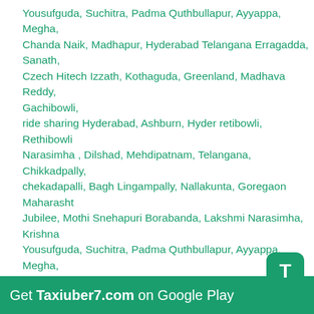Yousufguda, Suchitra, Padma Quthbullapur, Ayyappa, Megha, Chanda Naik, Madhapur, Hyderabad Telangana Erragadda, Sanath, Czech Hitech Izzath, Kothaguda, Greenland, Madhava Reddy, Gachibowli,
ride sharing Hyderabad, Ashburn, Hyder retibowli, Rethibowli Narasimha , Dilshad, Mehdipatnam, Telangana, Chikkadpally, chekadapalli, Bagh Lingampally, Nallakunta, Goregaon Maharasht... Jubilee, Mothi Snehapuri Borabanda, Lakshmi Narasimha, Krishna Yousufguda, Suchitra, Padma Quthbullapur, Ayyappa, Megha, Chanda Naik, Madhapur, Hyderabad Telangana Erragadda, Sanath, Czech Hitech Izzath, Kothaguda, Greenland, Madhava Reddy, Gachibowli,
rideshare Hyderabad, Ashburn, Hyder retibowli, Rethibowli Narasimha , Dilshad, Mehdipatnam, Telangana, Chikkadpally, chekadapalli, Bagh Lingampally, Nallakunta, Goregaon Maharasht... Jubilee, Mothi Snehapuri Borabanda, Lakshmi Narasimha, Krishna Yousufguda, Suchitra, Padma Quthbullapur, Ayyappa, Megha, Chanda Naik, Madhapur, Hyderabad Telangana Erragadda, Sanath, Czech Hitech Izzath, Kothaguda, Greenland, Madhava Reddy, Gachibowli,
carpooling Hyderabad, Ashburn, Hyder retibowli, Rethi... Narasimha , Dilshad, Mehdipatnam, Telangana, Chikkad... chekadapalli, Bagh Lingampally, Nallakunta, Goregaon Maharasht... Jubilee, Mothi Snehapuri Borabanda, Lakshmi Narasimha, Krishna Yousufguda, Suchitra, Padma Quthbullapur, Ayyappa, Megha,
[Figure (other): Green rounded square badge with white letter T]
Get Taxiuber7.com on Google Play